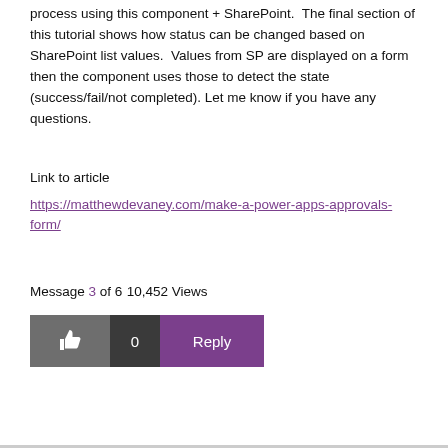process using this component + SharePoint.  The final section of this tutorial shows how status can be changed based on SharePoint list values.  Values from SP are displayed on a form then the component uses those to detect the state (success/fail/not completed). Let me know if you have any questions.
Link to article
https://matthewdevaney.com/make-a-power-apps-approvals-form/
Message 3 of 6
10,452 Views